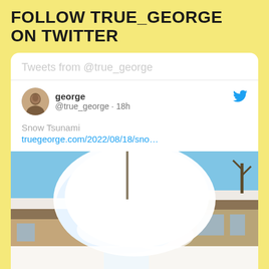FOLLOW TRUE_GEORGE ON TWITTER
Tweets from @true_george
george @true_george · 18h
Snow Tsunami
truegeorge.com/2022/08/18/sno…
[Figure (photo): Large snow tsunami wave crashing between two houses — massive pile of white snow towering above residential buildings under a blue sky with bare trees]
truegeorge.com
Snow Tsunami